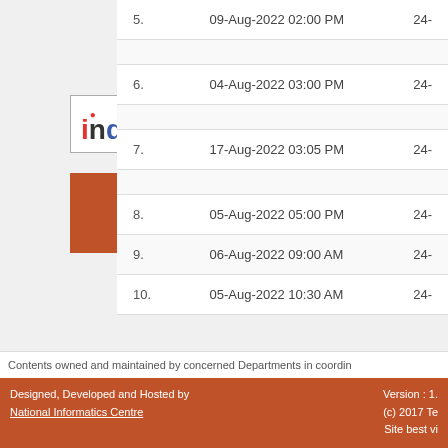Related Links
[Figure (logo): india.gov.in - The national portal of India logo]
[Figure (infographic): MMP on eProcurement (Tender information for States and UT's) orange banner]
| No. | Date/Time | Value |
| --- | --- | --- |
| 5. | 09-Aug-2022 02:00 PM | 24- |
| 6. | 04-Aug-2022 03:00 PM | 24- |
| 7. | 17-Aug-2022 03:05 PM | 24- |
| 8. | 05-Aug-2022 05:00 PM | 24- |
| 9. | 06-Aug-2022 09:00 AM | 24- |
| 10. | 05-Aug-2022 10:30 AM | 24- |
<< < 1 2 3 4 5 6 7 > >>
Contents owned and maintained by concerned Departments in coordin
Designed, Developed and Hosted by National Informatics Centre | Version : 1. (c) 2017 Te Site best vi